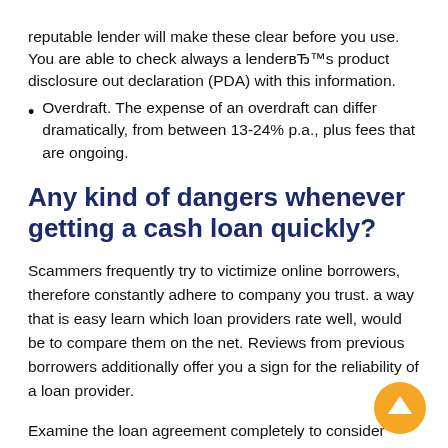reputable lender will make these clear before you use. You are able to check always a lender's product disclosure out declaration (PDA) with this information.
Overdraft. The expense of an overdraft can differ dramatically, from between 13-24% p.a., plus fees that are ongoing.
Any kind of dangers whenever getting a cash loan quickly?
Scammers frequently try to victimize online borrowers, therefore constantly adhere to company you trust. a way that is easy learn which loan providers rate well, would be to compare them on the net. Reviews from previous borrowers additionally offer you a sign for the reliability of a loan provider.
Examine the loan agreement completely to consider concealed costs and costs. As a result, you don't need